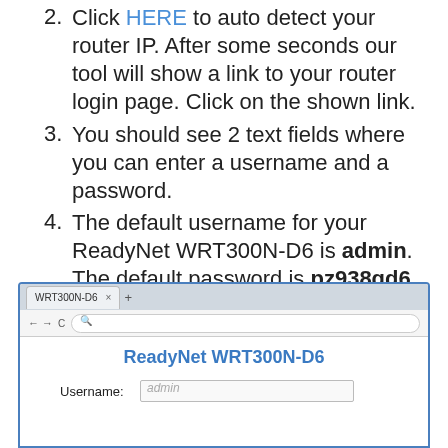Click HERE to auto detect your router IP. After some seconds our tool will show a link to your router login page. Click on the shown link.
You should see 2 text fields where you can enter a username and a password.
The default username for your ReadyNet WRT300N-D6 is admin. The default password is pz938qd6.
Enter the username & password, hit "Enter" and now you should see the control panel of your router.
[Figure (screenshot): Browser screenshot showing ReadyNet WRT300N-D6 login page with tab bar showing 'WRT300N-D6', address bar, page title 'ReadyNet WRT300N-D6' in blue, and a Username field with placeholder 'admin'.]